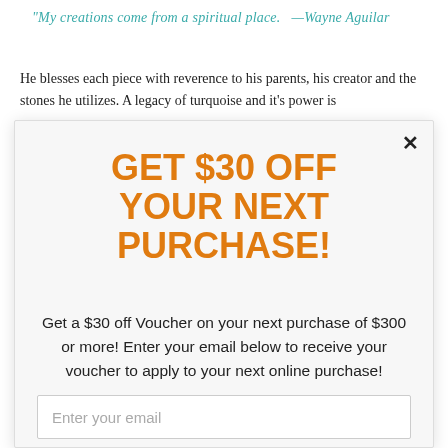"My creations come from a spiritual place.  —Wayne Aguilar
He blesses each piece with reverence to his parents, his creator and the stones he utilizes. A legacy of turquoise and it's power is
GET $30 OFF YOUR NEXT PURCHASE!
Get a $30 off Voucher on your next purchase of $300 or more! Enter your email below to receive your voucher to apply to your next online purchase!
Happy Shopping!
Enter your email